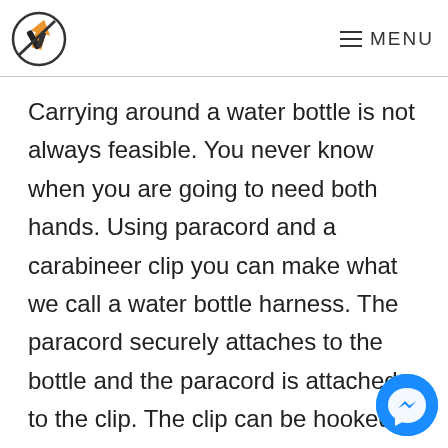≡ MENU
Carrying around a water bottle is not always feasible. You never know when you are going to need both hands. Using paracord and a carabineer clip you can make what we call a water bottle harness. The paracord securely attaches to the bottle and the paracord is attached to the clip. The clip can be hooked onto a belt loop backpack for easy transportation.